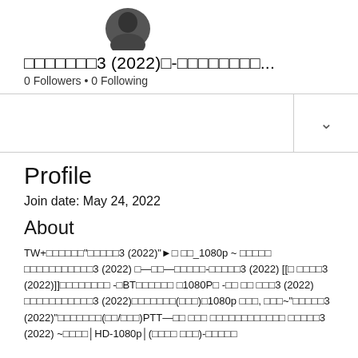[Figure (photo): Circular profile picture with dark background]
□□□□□□□3 (2022)□-□□□□□□□□...
0 Followers • 0 Following
Profile
Join date: May 24, 2022
About
TW+□□□□□□"□□□□□3 (2022)"►□ □□_1080p ~ □□□□□ □□□□□□□□□□□3 (2022) □—□□—□□□□□-□□□□□3 (2022) [[□ □□□□3 (2022)]]□□□□□□□□ -□BT□□□□□□ □1080P□ -□□ □□ □□□3 (2022) □□□□□□□□□□□3 (2022)□□□□□□□(□□□)□1080p □□□, □□□~"□□□□□3 (2022)"□□□□□□□(□□/□□□)PTT—□□ □□□ □□□□□□□□□□□□ □□□□□3 (2022) ~□□□□│HD-1080p│(□□□□ □□□)-□□□□□